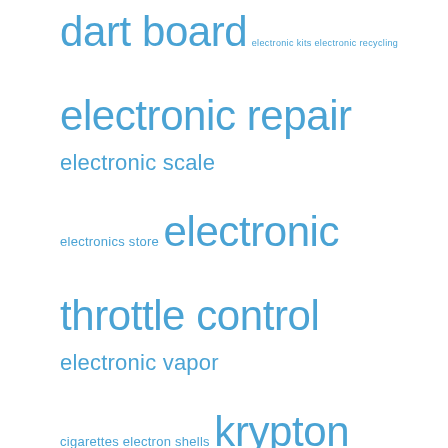[Figure (infographic): Tag cloud of electronics and electron-related terms rendered in varying font sizes and a uniform blue color. Terms include: dart board, electronic kits, electronic recycling, electronic repair, electronic scale, electronics store, electronic throttle control, electronic vapor cigarettes, electron shells, krypton, electron configuration, lithium valence electrons, mn electron configuration, nitrogen electrons, oxygen electron configuration, oxygen electrons, periodic table electrons, phosphorus valence electrons, potassium electron configuration, potassium valence electrons, si electron configuration, target electronics, tyco electronics]